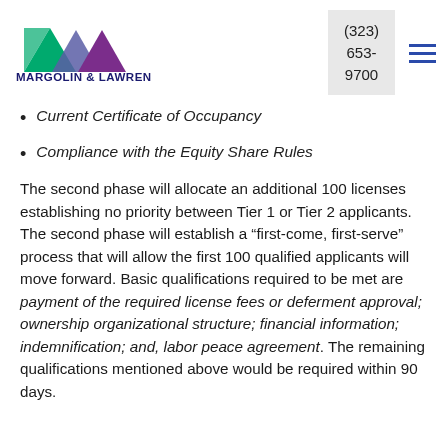Margolin & Lawrence Attorneys at Law | (323) 653-9700
Current Certificate of Occupancy
Compliance with the Equity Share Rules
The second phase will allocate an additional 100 licenses establishing no priority between Tier 1 or Tier 2 applicants. The second phase will establish a “first-come, first-serve” process that will allow the first 100 qualified applicants will move forward. Basic qualifications required to be met are payment of the required license fees or deferment approval; ownership organizational structure; financial information; indemnification; and, labor peace agreement. The remaining qualifications mentioned above would be required within 90 days.